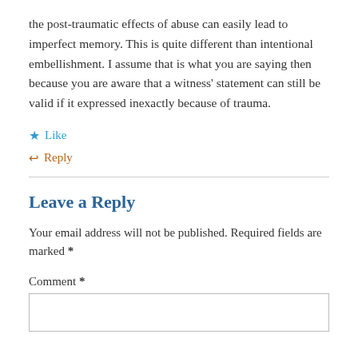the post-traumatic effects of abuse can easily lead to imperfect memory. This is quite different than intentional embellishment. I assume that is what you are saying then because you are aware that a witness' statement can still be valid if it expressed inexactly because of trauma.
★ Like
↩ Reply
Leave a Reply
Your email address will not be published. Required fields are marked *
Comment *